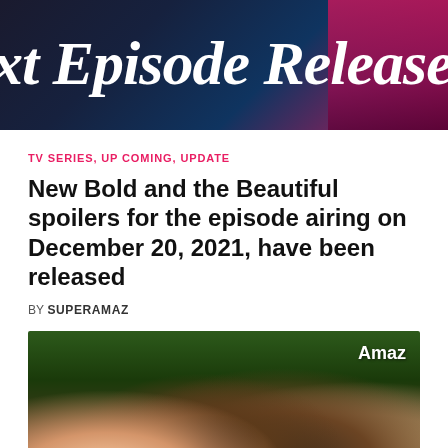[Figure (photo): Banner image with text 'xt Episode Release D' in large italic white letters on a dark blue/pink gradient background]
TV SERIES, UP COMING, UPDATE
New Bold and the Beautiful spoilers for the episode airing on December 20, 2021, have been released
BY SUPERAMAZ
[Figure (photo): Group of young people including a Black woman and several others outdoors with green foliage in background, watermark 'Amaz' visible, Share button overlay]